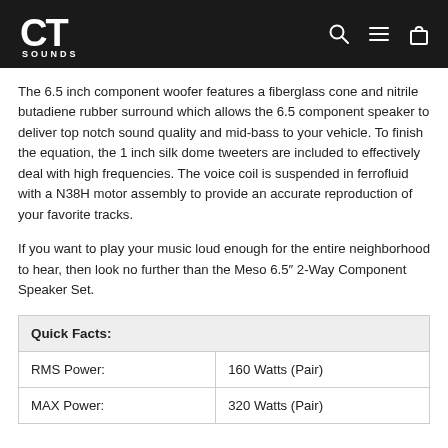CT Sounds
The 6.5 inch component woofer features a fiberglass cone and nitrile butadiene rubber surround which allows the 6.5 component speaker to deliver top notch sound quality and mid-bass to your vehicle. To finish the equation, the 1 inch silk dome tweeters are included to effectively deal with high frequencies. The voice coil is suspended in ferrofluid with a N38H motor assembly to provide an accurate reproduction of your favorite tracks.
If you want to play your music loud enough for the entire neighborhood to hear, then look no further than the Meso 6.5″ 2-Way Component Speaker Set.
| Quick Facts: |  |
| --- | --- |
| RMS Power: | 160 Watts (Pair) |
| MAX Power: | 320 Watts (Pair) |